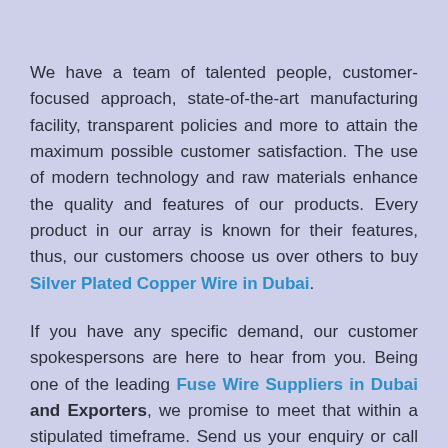We have a team of talented people, customer-focused approach, state-of-the-art manufacturing facility, transparent policies and more to attain the maximum possible customer satisfaction. The use of modern technology and raw materials enhance the quality and features of our products. Every product in our array is known for their features, thus, our customers choose us over others to buy Silver Plated Copper Wire in Dubai.
If you have any specific demand, our customer spokespersons are here to hear from you. Being one of the leading Fuse Wire Suppliers in Dubai and Exporters, we promise to meet that within a stipulated timeframe. Send us your enquiry or call us now.